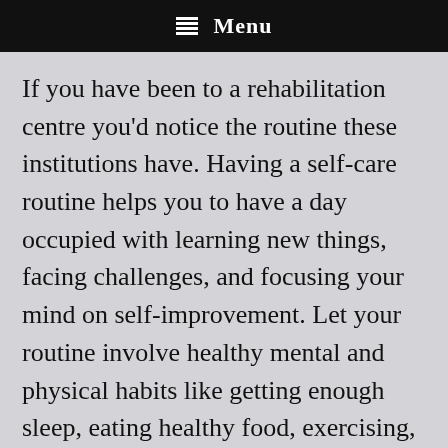Menu
If you have been to a rehabilitation centre you'd notice the routine these institutions have. Having a self-care routine helps you to have a day occupied with learning new things, facing challenges, and focusing your mind on self-improvement. Let your routine involve healthy mental and physical habits like getting enough sleep, eating healthy food, exercising, positive social interactions and helping others when you can. (Refer to coping strategies No 1, 2, 3 and 5.)